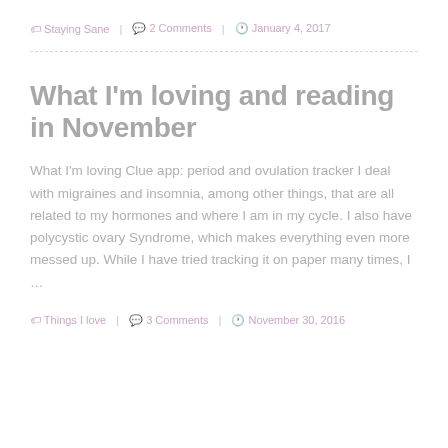🏷 Staying Sane | 💬 2 Comments | 🕐 January 4, 2017
What I'm loving and reading in November
What I'm loving Clue app: period and ovulation tracker I deal with migraines and insomnia, among other things, that are all related to my hormones and where I am in my cycle. I also have polycystic ovary Syndrome, which makes everything even more messed up. While I have tried tracking it on paper many times, I …
🏷 Things I love | 💬 3 Comments | 🕐 November 30, 2016